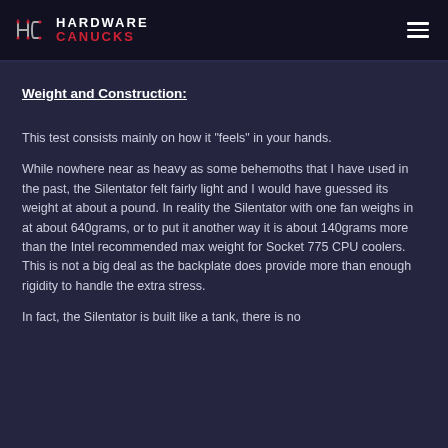[Figure (logo): Hardware Canucks logo with circuit-board style HC icon and text 'HARDWARE CANUCKS' in white and red]
Weight and Construction:
This test consists mainly on how it "feels" in your hands.
While nowhere near as heavy as some behemoths that I have used in the past, the Silentator felt fairly light and I would have guessed its weight at about a pound. In reality the Silentator with one fan weighs in at about 640grams, or to put it another way it is about 140grams more than the Intel recommended max weight for Socket 775 CPU coolers. This is not a big deal as the backplate does provide more than enough rigidity to handle the extra stress.
In fact, the Silentator is built like a tank, there is no